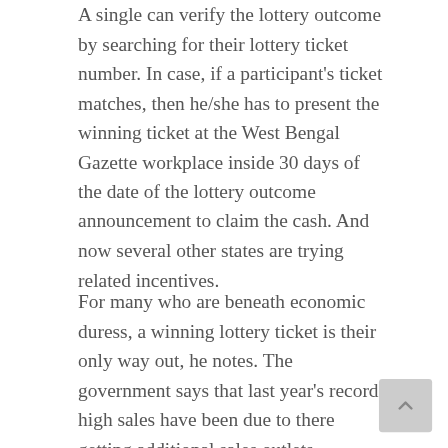A single can verify the lottery outcome by searching for their lottery ticket number. In case, if a participant's ticket matches, then he/she has to present the winning ticket at the West Bengal Gazette workplace inside 30 days of the date of the lottery outcome announcement to claim the cash. And now several other states are trying related incentives.
For many who are beneath economic duress, a winning lottery ticket is their only way out, he notes. The government says that last year's record high sales have been due to there getting additional sales outlets.